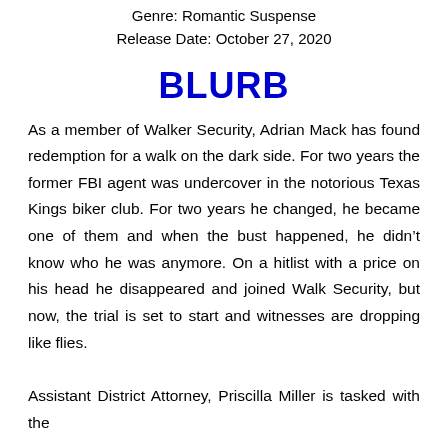Genre: Romantic Suspense
Release Date: October 27, 2020
BLURB
As a member of Walker Security, Adrian Mack has found redemption for a walk on the dark side. For two years the former FBI agent was undercover in the notorious Texas Kings biker club. For two years he changed, he became one of them and when the bust happened, he didn’t know who he was anymore. On a hitlist with a price on his head he disappeared and joined Walk Security, but now, the trial is set to start and witnesses are dropping like flies.

Assistant District Attorney, Priscilla Miller is tasked with the